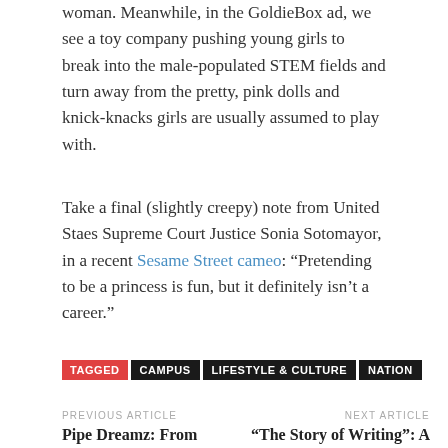woman. Meanwhile, in the GoldieBox ad, we see a toy company pushing young girls to break into the male-populated STEM fields and turn away from the pretty, pink dolls and knick-knacks girls are usually assumed to play with.
Take a final (slightly creepy) note from United Staes Supreme Court Justice Sonia Sotomayor, in a recent Sesame Street cameo: “Pretending to be a princess is fun, but it definitely isn’t a career.”
TAGGED CAMPUS LIFESTYLE & CULTURE NATION
PREVIOUS ARTICLE
Pipe Dreamz: From 3,000 Paper Cups to Art
NEXT ARTICLE
“The Story of Writing”: A Lecture on the Development of Writing